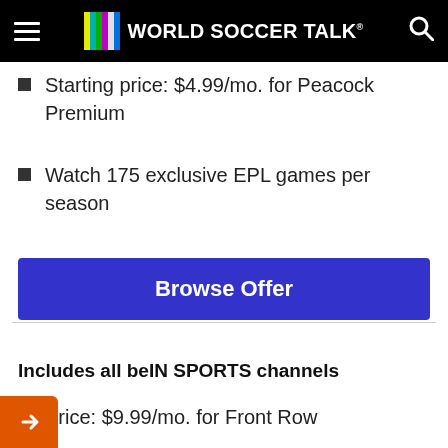World Soccer Talk
Starting price: $4.99/mo. for Peacock Premium
Watch 175 exclusive EPL games per season
Browse Offer
Includes all beIN SPORTS channels
Price: $9.99/mo. for Front Row